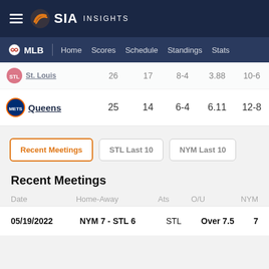SIA INSIGHTS
MLB | Home Scores Schedule Standings Stats
| Team | GP | HR | W-L | ERA | Last10 |
| --- | --- | --- | --- | --- | --- |
| St. Louis | 26 | 17 | 8-4 | 3.88 | 10-6 |
| Queens | 25 | 14 | 6-4 | 6.11 | 12-8 |
Recent Meetings | STL Last 10 | NYM Last 10
Recent Meetings
| Date | Home-Away | Ats | O/U | NYM |
| --- | --- | --- | --- | --- |
| 05/19/2022 | NYM 7 - STL 6 | STL | Over 7.5 | 7 |